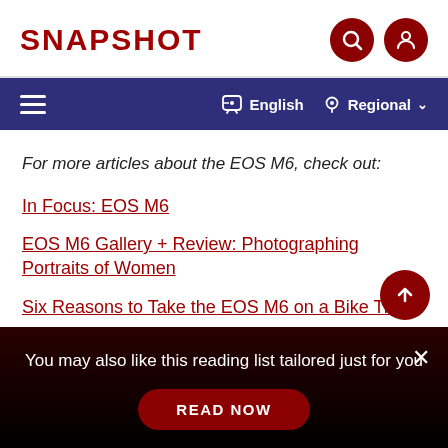SNAPSHOT
For more articles about the EOS M6, check out:
In Focus: EOS M6
EOS M6 Gallery + Review: Photographing Portraits of Women
Six Reasons to Take the EOS M6 on a Bike Trip
You may also like this reading list tailored just for you
READ NOW